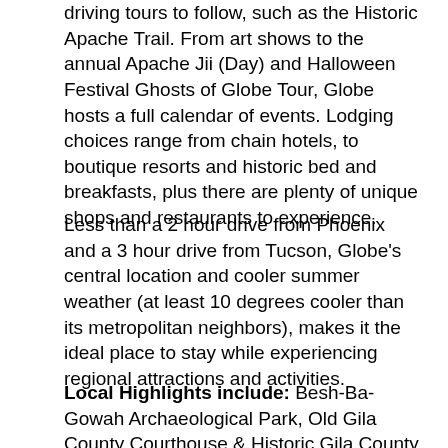driving tours to follow, such as the Historic Apache Trail. From art shows to the annual Apache Jii (Day) and Halloween Festival Ghosts of Globe Tour, Globe hosts a full calendar of events. Lodging choices range from chain hotels, to boutique resorts and historic bed and breakfasts, plus there are plenty of unique shops and restaurants to experience.
Less than a 2 hour drive from Phoenix and a 3 hour drive from Tucson, Globe's central location and cooler summer weather (at least 10 degrees cooler than its metropolitan neighbors), makes it the ideal place to stay while experiencing regional attractions and activities.
Local Highlights include: Besh-Ba-Gowah Archaeological Park, Old Gila County Courthouse & Historic Gila County Jail, Cobre Valley Center for the Arts, Historic Downtown Miami and Bullion Plaza